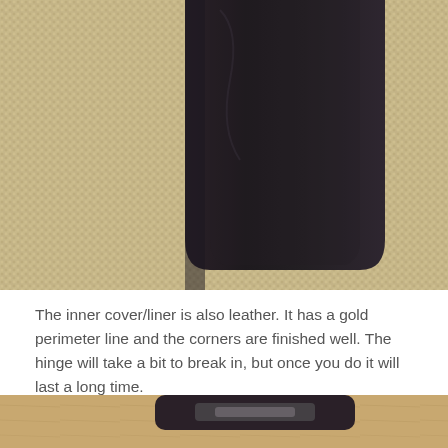[Figure (photo): A dark brown/black leather bifold cover or wallet lying on a woven beige textile surface. The leather item takes up the center of the frame showing its smooth textured surface.]
The inner cover/liner is also leather. It has a gold perimeter line and the corners are finished well. The hinge will take a bit to break in, but once you do it will last a long time.
[Figure (photo): Partial view of another leather item on a wooden surface, only the top portion visible at the bottom of the page.]